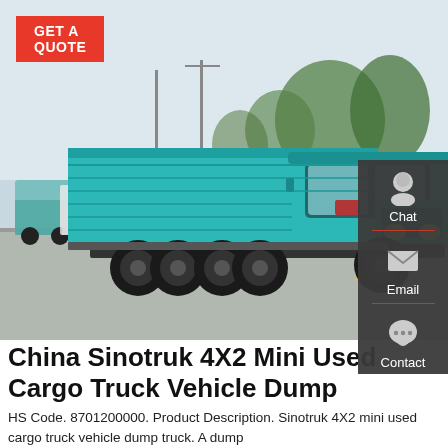[Figure (photo): A teal/turquoise Sinotruk dump truck parked on a road, viewed from a front-left angle. Trees and utility poles visible in background. Other vehicles visible in far left background.]
China Sinotruk 4X2 Mini Used Cargo Truck Vehicle Dump
HS Code. 8701200000. Product Description. Sinotruk 4X2 mini used cargo truck vehicle dump truck. A dump